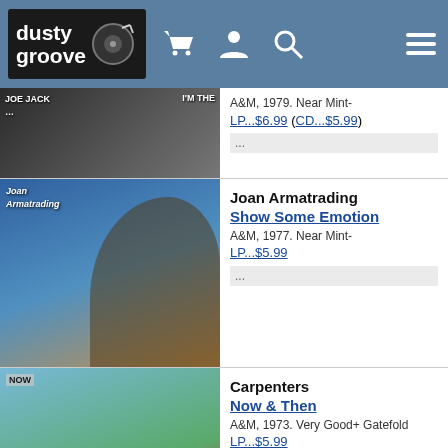dusty groove
A&M, 1979. Near Mint-
LP...$6.99 (CD...$5.99)
...
Joan Armatrading
Show Some Emotion
A&M, 1977. Near Mint-
LP...$5.99
...
Carpenters
Now & Then
A&M, 1973. Very Good+ Gatefold
LP...$5.99
...
Joe Jackson
Night & Day
A&M, 1982. Near Mint- Gatefold
LP...$9.99
A heck of a great record – and we don't mind saying it! After knocking around in territory that ran from new